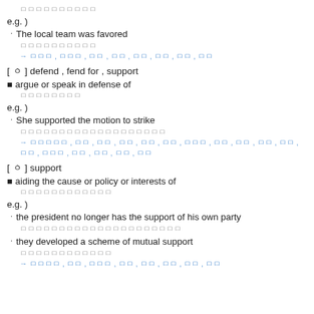ㅁㅁㅁㅁㅁㅁㅁㅁㅁㅁ
e.g. )
ㆍThe local team was favored
ㅁㅁㅁㅁㅁㅁㅁㅁㅁㅁ
→ ㅁㅁㅁ , ㅁㅁㅁ , ㅁㅁ , ㅁㅁ , ㅁㅁ , ㅁㅁ , ㅁㅁ , ㅁㅁ
[ ㆁ ] defend , fend for , support
■ argue or speak in defense of
ㅁㅁㅁㅁㅁㅁㅁㅁ
e.g. )
ㆍShe supported the motion to strike
ㅁㅁㅁㅁㅁㅁㅁㅁㅁㅁㅁㅁㅁㅁㅁㅁㅁㅁㅁ
→ ㅁㅁㅁㅁㅁ , ㅁㅁ , ㅁㅁ , ㅁㅁ , ㅁㅁ , ㅁㅁ , ㅁㅁㅁ , ㅁㅁ , ㅁㅁ , ㅁㅁ , ㅁㅁ , ㅁㅁ , ㅁㅁㅁ , ㅁㅁ , ㅁㅁ , ㅁㅁ , ㅁㅁ
[ ㆁ ] support
■ aiding the cause or policy or interests of
ㅁㅁㅁㅁㅁㅁㅁㅁㅁㅁㅁㅁ
e.g. )
ㆍthe president no longer has the support of his own party
ㅁㅁㅁㅁㅁㅁㅁㅁㅁㅁㅁㅁㅁㅁㅁㅁㅁㅁㅁㅁㅁ
ㆍthey developed a scheme of mutual support
ㅁㅁㅁㅁㅁㅁㅁㅁㅁㅁㅁㅁ
→ ㅁㅁㅁㅁ , ㅁㅁ , ㅁㅁㅁ , ㅁㅁ , ㅁㅁ , ㅁㅁ , ㅁㅁ , ㅁㅁ